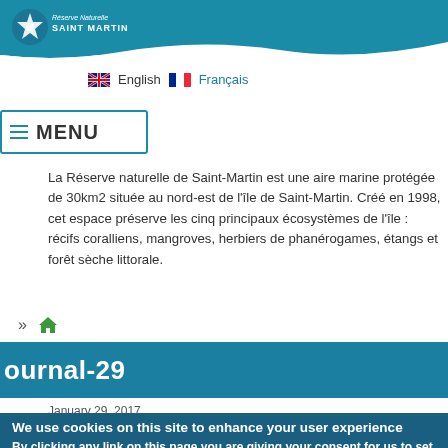[Figure (logo): Réserve Naturelle Saint Martin logo with star/snowflake icon on teal header with wave shape]
English  Français
≡MENU
La Réserve naturelle de Saint-Martin est une aire marine protégée de 30km2 située au nord-est de l'île de Saint-Martin. Créé en 1998, cet espace préserve les cinq principaux écosystèmes de l'île : récifs coralliens, mangroves, herbiers de phanérogames, étangs et forêt sèche littorale.
» 🏠
ournal-29
We use cookies on this site to enhance your user experience
By clicking any link on this page you are giving your consent for us to set